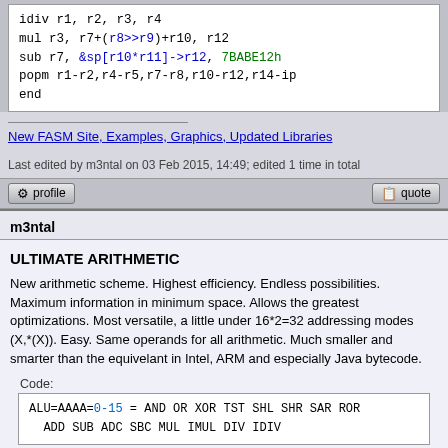[Figure (screenshot): Code block showing assembly-like instructions: idiv r1,r2,r3,r4 / mul r3, r7+(r8>>r9)+r10, r12 / sub r7, &sp[r10*r11]->r12, 7BABE12h / popm r1-r2,r4-r5,r7-r8,r10-r12,r14-ip / end]
New FASM Site, Examples, Graphics, Updated Libraries
Last edited by m3ntal on 03 Feb 2015, 14:49; edited 1 time in total
m3ntal
ULTIMATE ARITHMETIC
New arithmetic scheme. Highest efficiency. Endless possibilities. Maximum information in minimum space. Allows the greatest optimizations. Most versatile, a little under 16*2=32 addressing modes (X,*(X)). Easy. Same operands for all arithmetic. Much smaller and smarter than the equivelant in Intel, ARM and especially Java bytecode.
Code:
[Figure (screenshot): Code box showing: ALU=AAAA=0-15 = AND OR XOR TST SHL SHR SAR ROR ADD SUB ADC SBC MUL IMUL DIV IDIV]